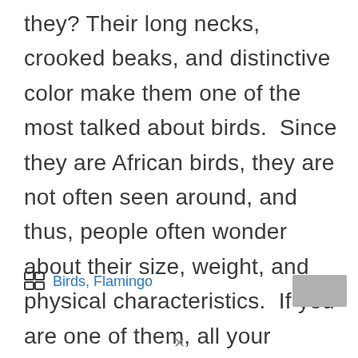they? Their long necks, crooked beaks, and distinctive color make them one of the most talked about birds.  Since they are African birds, they are not often seen around, and thus, people often wonder about their size, weight, and physical characteristics.  If you are one of them, all your doubts … Read more
Birds, Flamingo